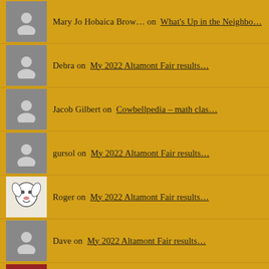Mary Jo Hobaica Brow… on   What's Up in the Neighbo…
Debra on   My 2022 Altamont Fair results…
Jacob Gilbert on   Cowbellpedia – math clas…
gursol on   My 2022 Altamont Fair results…
Roger on   My 2022 Altamont Fair results…
Dave on   My 2022 Altamont Fair results…
Chuck Miller   on   My entries for the 2022 Altamo…
cp retiree on   My entries for the 2022 Altamo…
Dave on   My entries for the 2022 Altamo…